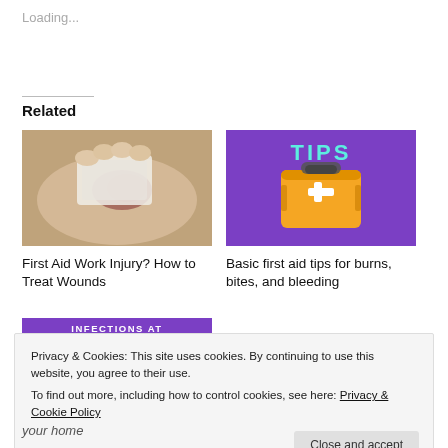Loading...
Related
[Figure (photo): Hand holding a cloth/gauze against a wound on skin]
First Aid Work Injury? How to Treat Wounds
[Figure (illustration): Purple background with TIPS text in cyan and a yellow first aid kit illustration]
Basic first aid tips for burns, bites, and bleeding
[Figure (photo): Partial purple banner showing INFECTIONS AT HOME text]
Privacy & Cookies: This site uses cookies. By continuing to use this website, you agree to their use.
To find out more, including how to control cookies, see here: Privacy & Cookie Policy
Close and accept
your home